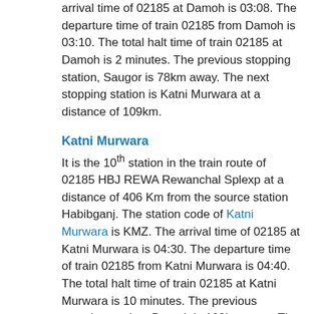arrival time of 02185 at Damoh is 03:08. The departure time of train 02185 from Damoh is 03:10. The total halt time of train 02185 at Damoh is 2 minutes. The previous stopping station, Saugor is 78km away. The next stopping station is Katni Murwara at a distance of 109km.
Katni Murwara
It is the 10th station in the train route of 02185 HBJ REWA Rewanchal Splexp at a distance of 406 Km from the source station Habibganj. The station code of Katni Murwara is KMZ. The arrival time of 02185 at Katni Murwara is 04:30. The departure time of train 02185 from Katni Murwara is 04:40. The total halt time of train 02185 at Katni Murwara is 10 minutes. The previous stopping station, Damoh is 109km away. The next stopping station is Maihar at a distance of 65km.
Maihar
It is the 11th station in the train route of 02185 HBJ REWA Rewanchal Splexp at a distance of 471 Km from the source station Habibganj. The station code of Maihar is MYR. The arrival time of 02185 at Maihar is 05:38. The departure time